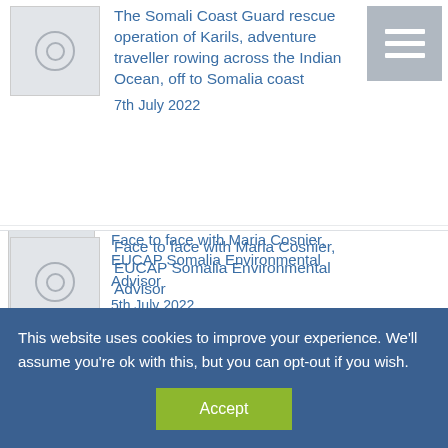The Somali Coast Guard rescue operation of Karils, adventure traveller rowing across the Indian Ocean, off to Somalia coast
7th July 2022
Face to face with Maria Cosnier, EUCAP Somalia Environmental Advisor
5th July 2022
#FieldVision | Maritime security has a real impact on economic development, regional security and the stability of Somalia
5th July 2022
This website uses cookies to improve your experience. We'll assume you're ok with this, but you can opt-out if you wish.